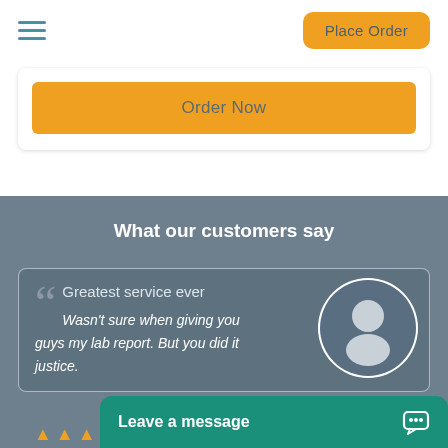[Figure (screenshot): Hamburger menu icon (three horizontal lines in blue-teal color)]
[Figure (screenshot): Orange rounded button labeled 'Place Order']
[Figure (screenshot): White card panel with orange 'Order Now' button]
What our customers say
Greatest service ever
Wasn't sure when giving you guys my lab report. But you did it justice.
Carl Tim
[Figure (illustration): Generic user avatar: white circle with dark blue-gray silhouette of a person]
[Figure (screenshot): Teal chat widget bar at bottom with 'Leave a message' text and chat icon]